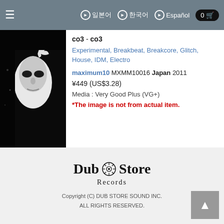≡  ▶ 일본어  ▶ 한국어  ▶ Español  0 🛒
[Figure (photo): Album cover image showing a masked face against dark background]
co3 - co3
Experimental, Breakbeat, Breakcore, Glitch, House, IDM, Electro
maximum10 MXMM10016 Japan 2011
¥449 (US$3.28)
Media : Very Good Plus (VG+)
*The image is not from actual item.
100
Dub Store Records
Copyright (C) DUB STORE SOUND INC.
ALL RIGHTS RESERVED.